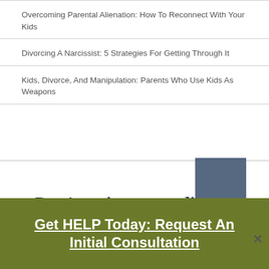Overcoming Parental Alienation: How To Reconnect With Your Kids
Divorcing A Narcissist: 5 Strategies For Getting Through It
Kids, Divorce, And Manipulation: Parents Who Use Kids As Weapons
Don't go into your divorce or family law matter
Get HELP Today: Request An Initial Consultation